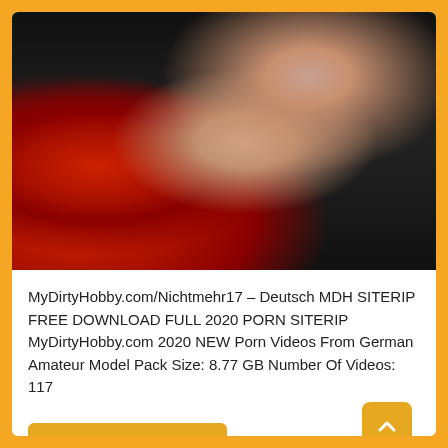[Figure (photo): A woman posing on dark background wearing red high-heeled boots]
MyDirtyHobby.com/Nichtmehr17 – Deutsch MDH SITERIP FREE DOWNLOAD FULL 2020 PORN SITERIP MyDirtyHobby.com 2020 NEW Porn Videos From German Amateur Model Pack Size: 8.77 GB Number Of Videos: 117